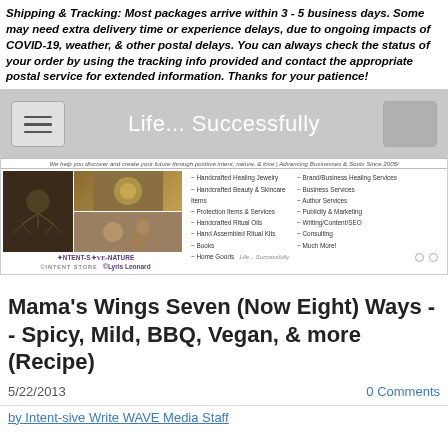Shipping & Tracking: Most packages arrive within 3 - 5 business days. Some may need extra delivery time or experience delays, due to ongoing impacts of COVID-19, weather, & other postal delays. You can always check the status of your order by using the tracking info provided and contact the appropriate postal service for extended information. Thanks for your patience!
[Figure (screenshot): Website banner for 'Life... Successfully' with hamburger menu button on left, title in center on gray background, and a gray square button on right.]
[Figure (screenshot): Store website content area showing Intent-Sive Nature logo with product images on left, tagline text, and two columns of store category links including Handcrafted Healing Jewelry, Handcrafted Beauty & Skincare Items, Protection Items & Services, Handcrafted Ritual Oils, Hand Assembled Ritual Kits, Books, Home Goods on left; Brand/Business Healing Services, Business Services, Author Services, Publicity & Marketing, Writing/Content/SEO, Consulting, Much More! on right. Life... Successfully logo shown. Navigation dots at bottom right.]
Mama's Wings Seven (Now Eight) Ways -- Spicy, Mild, BBQ, Vegan, & more (Recipe)
5/22/2013
0 Comments
by Intent-sive Write WAVE Media Staff